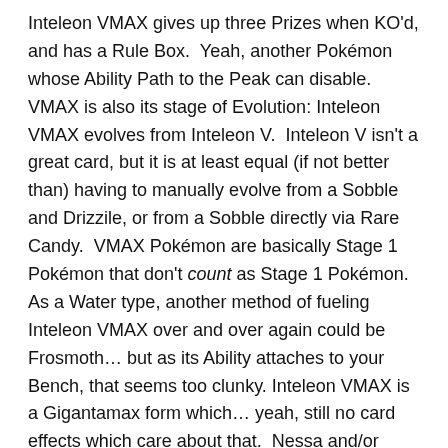Inteleon VMAX gives up three Prizes when KO'd, and has a Rule Box.  Yeah, another Pokémon whose Ability Path to the Peak can disable.  VMAX is also its stage of Evolution: Inteleon VMAX evolves from Inteleon V.  Inteleon V isn't a great card, but it is at least equal (if not better than) having to manually evolve from a Sobble and Drizzile, or from a Sobble directly via Rare Candy.  VMAX Pokémon are basically Stage 1 Pokémon that don't count as Stage 1 Pokémon.  As a Water type, another method of fueling Inteleon VMAX over and over again could be Frosmoth… but as its Ability attaches to your Bench, that seems too clunky.  Inteleon VMAX is a Gigantamax form which… yeah, still no card effects which care about that.  Nessa and/or exploiting [W] Weakness on Fire types should come in handy as well.
Inteleon VMAX has 320 HP.  Middle-of-the-road for a Pokémon VMAX, but difficult to OHKO outside of Weakness.